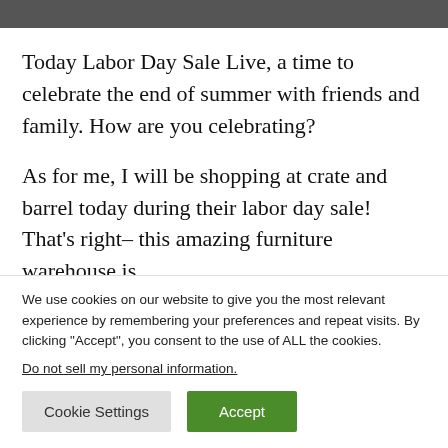[Figure (other): Dark grey header banner at top of page]
Today Labor Day Sale Live, a time to celebrate the end of summer with friends and family. How are you celebrating?
As for me, I will be shopping at crate and barrel today during their labor day sale! That's right– this amazing furniture warehouse is
We use cookies on our website to give you the most relevant experience by remembering your preferences and repeat visits. By clicking "Accept", you consent to the use of ALL the cookies.
Do not sell my personal information.
Cookie Settings   Accept